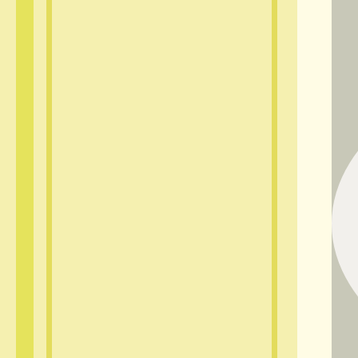[Figure (photo): Grilled vegetables including zucchini, mushrooms with basil leaves, and dark olives on a white plate]
Generous slabs of decent smoked mozz were the saving grace of this antipasto, but mushy zucchini, watery roasted peppers & greasy superm... al dente asparagus were okay, but hardly compensatory.) ...bread that I hoped wasn't a foreshadowing of my main co...
But it was.
[Figure (photo): Grilled panini sandwich with visible grill marks on a plate]